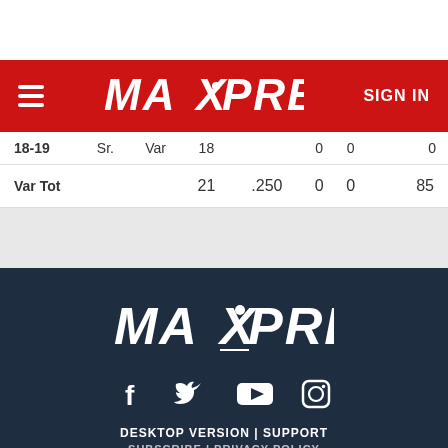[Figure (logo): MaxPreps logo and navigation bar with red background, hamburger menu, MAXPREPS logo, and SIGN IN button]
| 18-19 | Sr. | Var | 18 |  | 0 | 0 |  | 0 |
| Var Tot |  |  | 21 | .250 | 0 | 0 |  | 85 |
[Figure (logo): MaxPreps footer logo on dark navy background with social media icons (Facebook, Twitter, YouTube, Instagram) and footer links DESKTOP VERSION | SUPPORT]